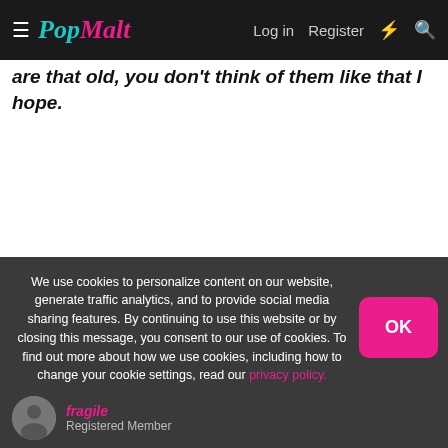PopMalt — Log in | Register
are that old, you don't think of them like that I hope.
We use cookies to personalize content on our website, generate traffic analytics, and to provide social media sharing features. By continuing to use this website or by closing this message, you consent to our use of cookies. To find out more about how we use cookies, including how to change your cookie settings, read our privacy policy.
fragile
Registered Member